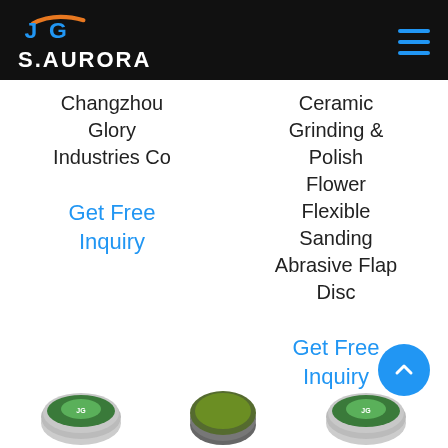S.AURORA
Changzhou Glory Industries Co
Get Free Inquiry
Ceramic Grinding & Polish Flower Flexible Sanding Abrasive Flap Disc
Get Free Inquiry
[Figure (photo): Three abrasive disc product images shown at the bottom of the page]